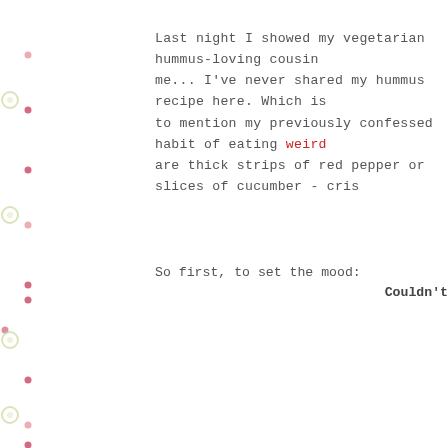[Figure (illustration): Decorative left border with alternating pink/red dots and green/yellow circles arranged vertically along the left edge of the page]
Last night I showed my vegetarian hummus-loving cousin me... I've never shared my hummus recipe here. Which is to mention my previously confessed habit of eating weird are thick strips of red pepper or slices of cucumber - cris
So first, to set the mood:
Couldn't